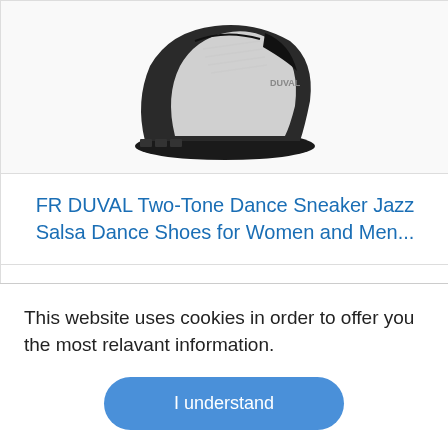[Figure (photo): Black and white/grey dance sneakers photographed from a side-front angle showing the sole and upper]
FR DUVAL Two-Tone Dance Sneaker Jazz Salsa Dance Shoes for Women and Men...
Price: $54.90 Prime
View Current Price
This website uses cookies in order to offer you the most relavant information.
I understand